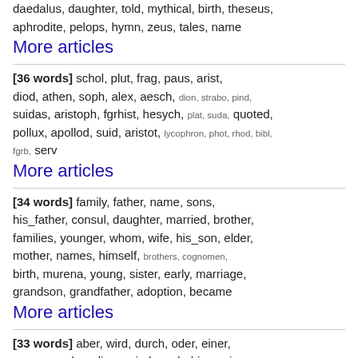daedalus, daughter, told, mythical, birth, theseus, aphrodite, pelops, hymn, zeus, tales, name
More articles
[36 words] schol, plut, frag, paus, arist, diod, athen, soph, alex, aesch, dion, strabo, pind, suidas, aristoph, fgrhist, hesych, plat, suda, quoted, pollux, apollod, suid, aristot, lycophron, phot, rhod, bibl, fgrb, serv
More articles
[34 words] family, father, name, sons, his_father, consul, daughter, married, brother, families, younger, whom, wife, his_son, elder, mother, names, himself, brothers, cognomen, birth, murena, young, sister, early, marriage, grandson, grandfather, adoption, became
More articles
[33 words] aber, wird, durch, oder, einer, wenn, werden, diese, sind, noch, hier, sein, nach, dieser, kann, einen, haben, sondern, einem, doch, seiner, seine, selbst, dann, schon, denn, mehr, ganz, dieses, ohne
More articles